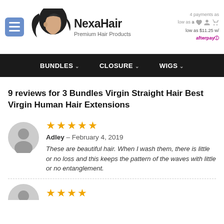[Figure (logo): NexaHair Premium Hair Products logo with woman silhouette and hair]
BUNDLES  CLOSURE  WIGS
9 reviews for 3 Bundles Virgin Straight Hair Best Virgin Human Hair Extensions
Adley – February 4, 2019
These are beautiful hair. When I wash them, there is little or no loss and this keeps the pattern of the waves with little or no entanglement.